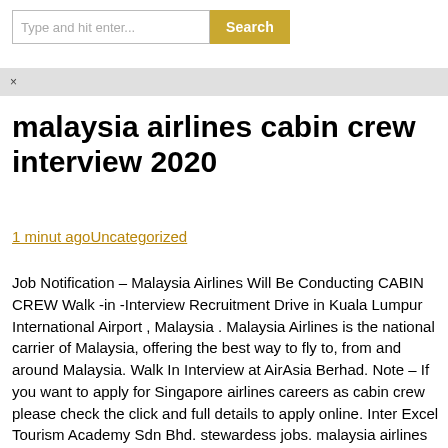Type and hit enter... Search
×
malaysia airlines cabin crew interview 2020
1 minut agoUncategorized
Job Notification – Malaysia Airlines Will Be Conducting CABIN CREW Walk -in -Interview Recruitment Drive in Kuala Lumpur International Airport , Malaysia . Malaysia Airlines is the national carrier of Malaysia, offering the best way to fly to, from and around Malaysia. Walk In Interview at AirAsia Berhad. Note – If you want to apply for Singapore airlines careers as cabin crew please check the click and full details to apply online. Inter Excel Tourism Academy Sdn Bhd. stewardess jobs. malaysia airlines jobs. So, if your dream is to become a cabin crew please check this full article and attend the interview. Cabin Crew jobs in Malaysia Filter. Interested Candidates can check the Eligibility & apply For Malaysia